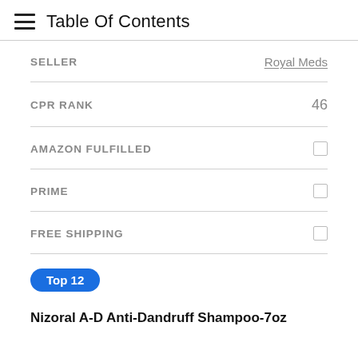Table Of Contents
| Field | Value |
| --- | --- |
| SELLER | Royal Meds |
| CPR RANK | 46 |
| AMAZON FULFILLED | ☐ |
| PRIME | ☐ |
| FREE SHIPPING | ☐ |
Top 12
Nizoral A-D Anti-Dandruff Shampoo-7oz